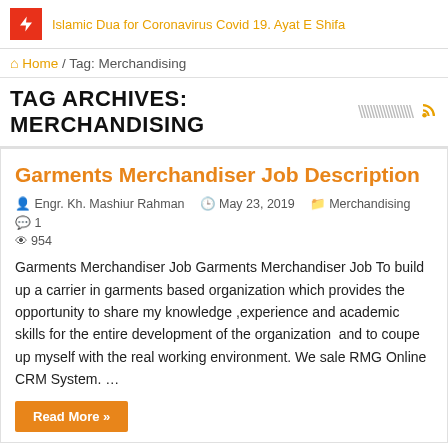Islamic Dua for Coronavirus Covid 19. Ayat E Shifa
Home / Tag: Merchandising
TAG ARCHIVES: MERCHANDISING
Garments Merchandiser Job Description
Engr. Kh. Mashiur Rahman   May 23, 2019   Merchandising   1   954
Garments Merchandiser Job Garments Merchandiser Job To build up a carrier in garments based organization which provides the opportunity to share my knowledge ,experience and academic skills for the entire development of the organization  and to coupe up myself with the real working environment. We sale RMG Online CRM System. …
Read More »